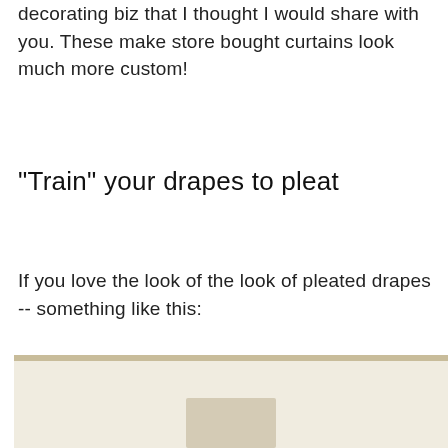decorating biz that I thought I would share with you. These make store bought curtains look much more custom!
"Train" your drapes to pleat
If you love the look of the look of pleated drapes -- something like this:
[Figure (photo): A photo of pleated drapes, partially visible at the bottom of the page with a tan/beige header bar and light beige interior.]